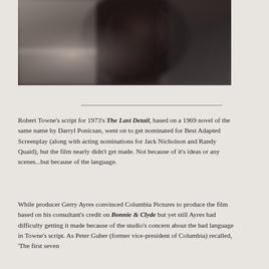[Figure (photo): Blurred/out-of-focus photograph of a person in dark clothing against a light background]
Robert Towne's script for 1973's The Last Detail, based on a 1969 novel of the same name by Darryl Ponicsan, went on to get nominated for Best Adapted Screenplay (along with acting nominations for Jack Nicholson and Randy Quaid), but the film nearly didn't get made. Not because of it's ideas or any scenes...but because of the language.
While producer Gerry Ayres convinced Columbia Pictures to produce the film based on his consultant's credit on Bonnie & Clyde but yet still Ayres had difficulty getting it made because of the studio's concern about the bad language in Towne's script. As Peter Guber (former vice-president of Columbia) recalled, 'The first seven pages of the script had 'f**k' in it. With the length of...